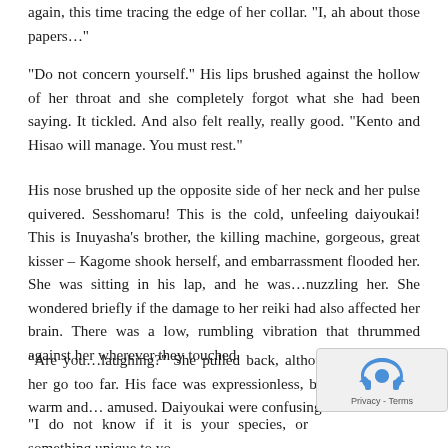again, this time tracing the edge of her collar. "I, ah about those papers…"
"Do not concern yourself." His lips brushed against the hollow of her throat and she completely forgot what she had been saying. It tickled. And also felt really, really good. "Kento and Hisao will manage. You must rest."
His nose brushed up the opposite side of her neck and her pulse quivered. Sesshomaru! This is the cold, unfeeling daiyoukai! This is Inuyasha's brother, the killing machine, gorgeous, great kisser – Kagome shook herself, and embarrassment flooded her. She was sitting in his lap, and he was…nuzzling her. She wondered briefly if the damage to her reiki had also affected her brain. There was a low, rumbling vibration that thrummed against her wherever they touched.
"Are you…laughing?" She pulled back, although he didn't let her go too far. His face was expressionless, but his eyes were warm and… amused. Daiyoukai were confusing.
"I do not know if it is your species, or something unique to yo your emotions are…exceptionally transmutable. It is intriguing."